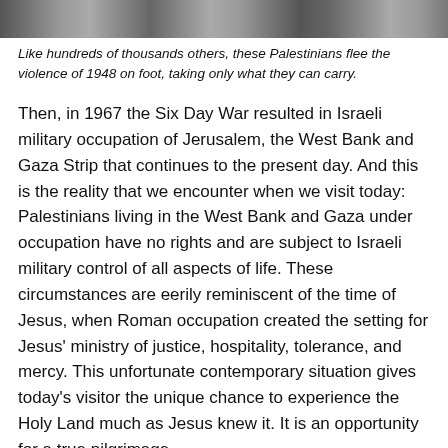[Figure (photo): Black and white photograph strip showing Palestinians fleeing, partially visible at the top of the page.]
Like hundreds of thousands others, these Palestinians flee the violence of 1948 on foot, taking only what they can carry.
Then, in 1967 the Six Day War resulted in Israeli military occupation of Jerusalem, the West Bank and Gaza Strip that continues to the present day. And this is the reality that we encounter when we visit today: Palestinians living in the West Bank and Gaza under occupation have no rights and are subject to Israeli military control of all aspects of life. These circumstances are eerily reminiscent of the time of Jesus, when Roman occupation created the setting for Jesus' ministry of justice, hospitality, tolerance, and mercy. This unfortunate contemporary situation gives today's visitor the unique chance to experience the Holy Land much as Jesus knew it. It is an opportunity for a true pilgrimage.